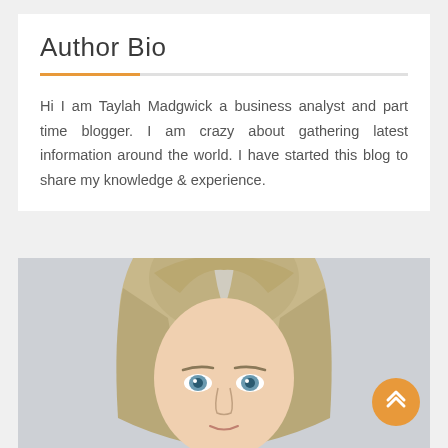Author Bio
Hi I am Taylah Madgwick a business analyst and part time blogger. I am crazy about gathering latest information around the world. I have started this blog to share my knowledge & experience.
[Figure (photo): Portrait photo of a woman with blonde hair and blue eyes against a light grey background]